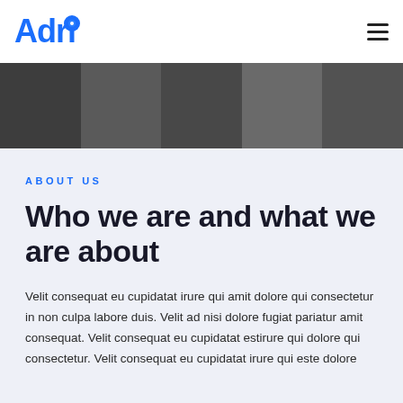Adri
[Figure (photo): Cropped horizontal photo showing people, appears to be a team or group of professionals, shown as a dark banner strip]
ABOUT US
Who we are and what we are about
Velit consequat eu cupidatat irure qui amit dolore qui consectetur in non culpa labore duis. Velit ad nisi dolore fugiat pariatur amit consequat. Velit consequat eu cupidatat estirure qui dolore qui consectetur. Velit consequat eu cupidatat irure qui este dolore